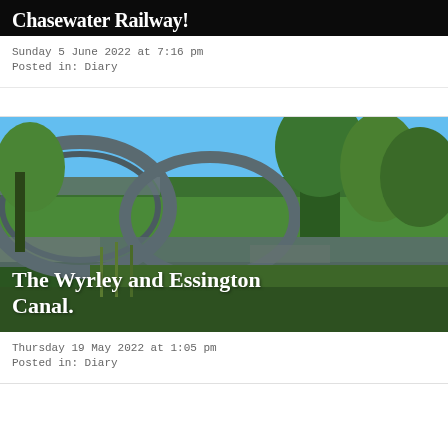[Figure (photo): Partial top of blog post image showing 'Chasewater Railway!' title text on dark background, cropped]
Sunday 5 June 2022 at 7:16 pm
Posted in: Diary
[Figure (photo): Photo of the Wyrley and Essington Canal showing an ornate iron bridge arch with lattice/diamond pattern railings, green vegetation and trees against a blue sky, graffiti visible on canal wall]
Thursday 19 May 2022 at 1:05 pm
Posted in: Diary